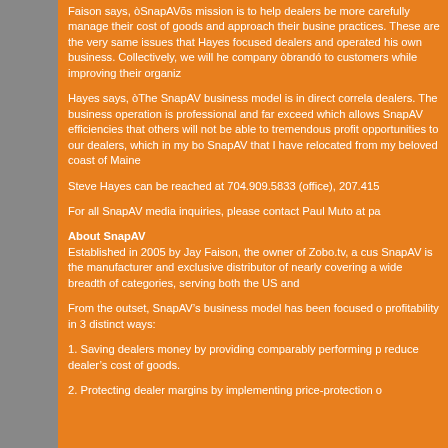Faison says, ÒSnapAVÕs mission is to help dealers be more carefully manage their cost of goods and approach their business practices. These are the very same issues that Hayes focused dealers and operated his own business. Collectively, we will he company ÒbrandÓ to customers while improving their organiz
Hayes says, ÒThe SnapAV business model is in direct correla dealers. The business operation is professional and far exceed which allows SnapAV efficiencies that others will not be able to tremendous profit opportunities to our dealers, which in my bo SnapAV that I have relocated from my beloved coast of Maine
Steve Hayes can be reached at 704.909.5833 (office), 207.415
For all SnapAV media inquiries, please contact Paul Muto at pa
About SnapAV
Established in 2005 by Jay Faison, the owner of Zobo.tv, a cus SnapAV is the manufacturer and exclusive distributor of nearly covering a wide breadth of categories, serving both the US and
From the outset, SnapAV’s business model has been focused o profitability in 3 distinct ways:
1. Saving dealers money by providing comparably performing p reduce dealer’s cost of goods.
2. Protecting dealer margins by implementing price-protection o